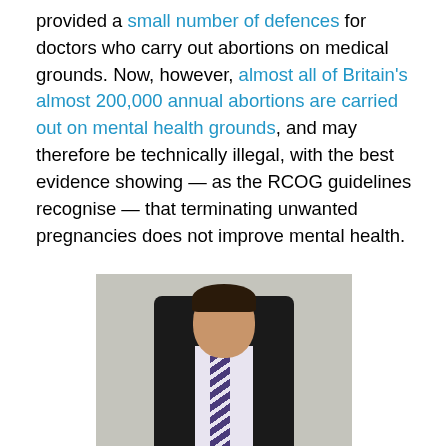provided a small number of defences for doctors who carry out abortions on medical grounds. Now, however, almost all of Britain's almost 200,000 annual abortions are carried out on mental health grounds, and may therefore be technically illegal, with the best evidence showing — as the RCOG guidelines recognise — that terminating unwanted pregnancies does not improve mental health.
[Figure (photo): Portrait photo of a man in a dark suit and striped tie, standing in front of a stone wall background.]